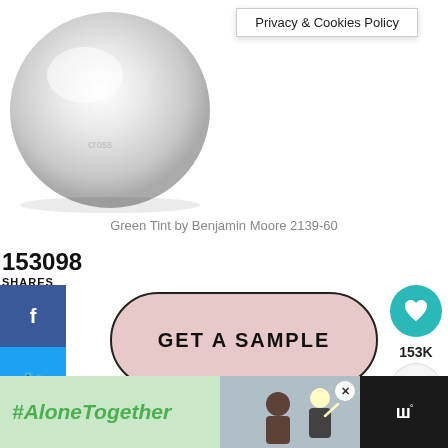[Figure (screenshot): Web page screenshot showing a paint color swatch for Green Tint by Benjamin Moore 2139-60, a GET A SAMPLE button, social share sidebar with Facebook, Twitter, Pinterest, heart and share buttons, a What's Next section for Blue Gray Paint Colors, and an #AloneTogether advertisement banner at the bottom.]
Privacy & Cookies Policy
Green Tint by Benjamin Moore 2139-60
153098
SHARES
GET A SAMPLE
153K
WHAT'S NEXT → Blue Gray Paint Colors
#AloneTogether